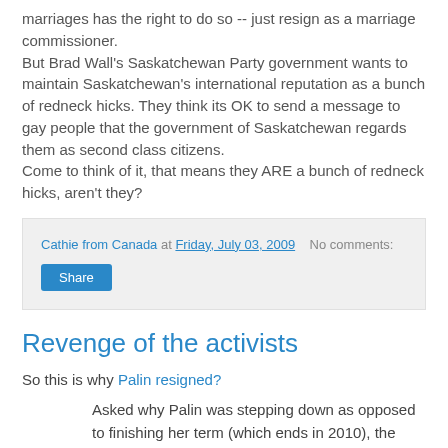marriages has the right to do so -- just resign as a marriage commissioner.
But Brad Wall's Saskatchewan Party government wants to maintain Saskatchewan's international reputation as a bunch of redneck hicks. They think its OK to send a message to gay people that the government of Saskatchewan regards them as second class citizens.
Come to think of it, that means they ARE a bunch of redneck hicks, aren't they?
Cathie from Canada at Friday, July 03, 2009   No comments:
Share
Revenge of the activists
So this is why Palin resigned?
Asked why Palin was stepping down as opposed to finishing her term (which ends in 2010), the